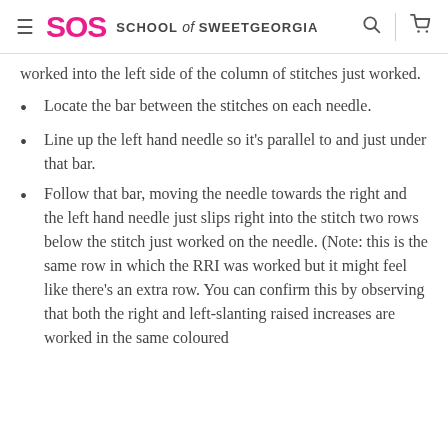SOS SCHOOL of SWEETGEORGIA
worked into the left side of the column of stitches just worked.
Locate the bar between the stitches on each needle.
Line up the left hand needle so it's parallel to and just under that bar.
Follow that bar, moving the needle towards the right and the left hand needle just slips right into the stitch two rows below the stitch just worked on the needle. (Note: this is the same row in which the RRI was worked but it might feel like there's an extra row. You can confirm this by observing that both the right and left-slanting raised increases are worked in the same coloured